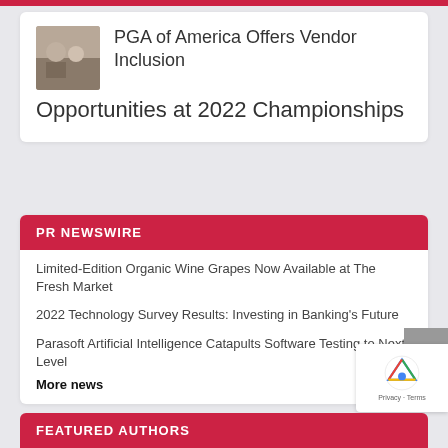PGA of America Offers Vendor Inclusion Opportunities at 2022 Championships
PR NEWSWIRE
Limited-Edition Organic Wine Grapes Now Available at The Fresh Market
2022 Technology Survey Results: Investing in Banking's Future
Parasoft Artificial Intelligence Catapults Software Testing to Next Level
More news
FEATURED AUTHORS